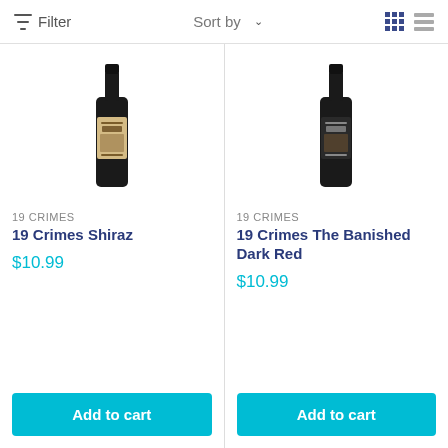Filter   Sort by   [grid view] [list view]
[Figure (photo): 19 Crimes Shiraz wine bottle with beige label featuring a historical portrait]
19 CRIMES
19 Crimes Shiraz
$10.99
Add to cart
[Figure (photo): 19 Crimes The Banished Dark Red wine bottle with dark label featuring a historical portrait]
19 CRIMES
19 Crimes The Banished Dark Red
$10.99
Add to cart